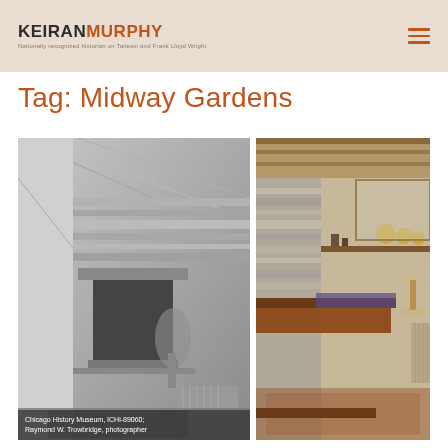KEIRANMURPHY — Nationally recognized historian on Taliesin and Frank Lloyd Wright
Tag: Midway Gardens
[Figure (photo): Black and white historic interior photograph showing a stone fireplace with angled ceiling and plant, labeled: Chicago History Museum, ICHi-89060; Raymond W. Trowbridge, photographer]
Chicago History Museum, ICHi-89060; Raymond W. Trowbridge, photographer
[Figure (photo): Color photograph of a mid-century modern interior room with stone wall, wood shelving, sofa, and decorative plates]